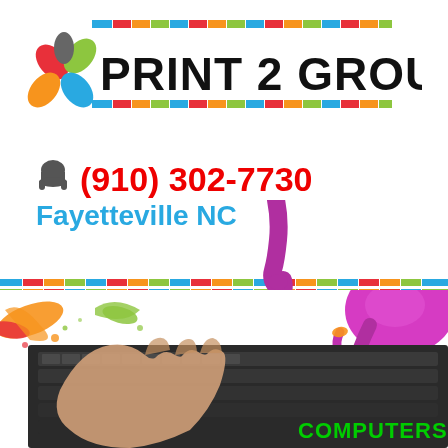[Figure (logo): Print 2 Group company logo with colorful flower/petal icon and colorful striped bars above and below the company name]
(910) 302-7730
Fayetteville NC
[Figure (photo): Hand typing on a keyboard with paint splashes and the word COMPUTERS in green text]